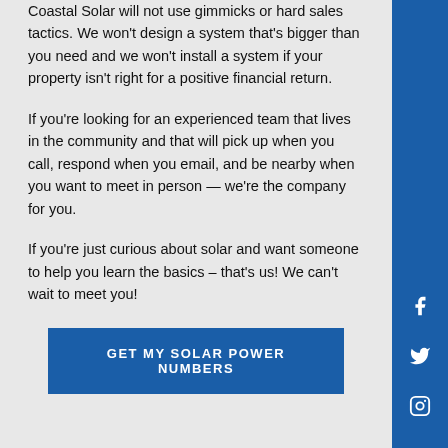Coastal Solar will not use gimmicks or hard sales tactics. We won't design a system that's bigger than you need and we won't install a system if your property isn't right for a positive financial return.
If you're looking for an experienced team that lives in the community and that will pick up when you call, respond when you email, and be nearby when you want to meet in person — we're the company for you.
If you're just curious about solar and want someone to help you learn the basics – that's us! We can't wait to meet you!
GET MY SOLAR POWER NUMBERS
[Figure (other): Blue sidebar with Facebook, Twitter, and Instagram social media icons]